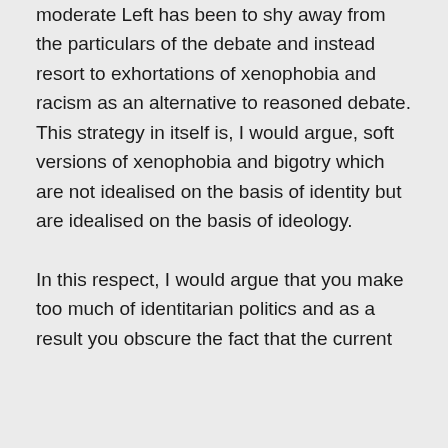moderate Left has been to shy away from the particulars of the debate and instead resort to exhortations of xenophobia and racism as an alternative to reasoned debate. This strategy in itself is, I would argue, soft versions of xenophobia and bigotry which are not idealised on the basis of identity but are idealised on the basis of ideology.

In this respect, I would argue that you make too much of identitarian politics and as a result you obscure the fact that the current